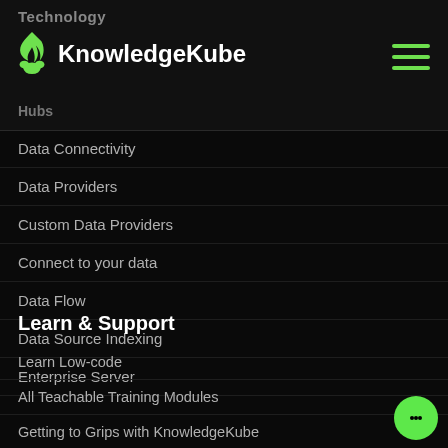Technology
[Figure (logo): KnowledgeKube logo with green flame/person icon and white bold text]
Hubs
Data Connectivity
Data Providers
Custom Data Providers
Connect to your data
Data Flow
Data Source Indexing
Enterprise Server
Learn & Support
Learn Low-code
All Teachable Training Modules
Getting to Grips with KnowledgeKube
Building a Simple KnowledgeKube Application
Creating your First KnowledgeKube Web Page
Working with Data in KnowledgeKube
Windows 10, Android and iOS Deployment with Enterprise Server